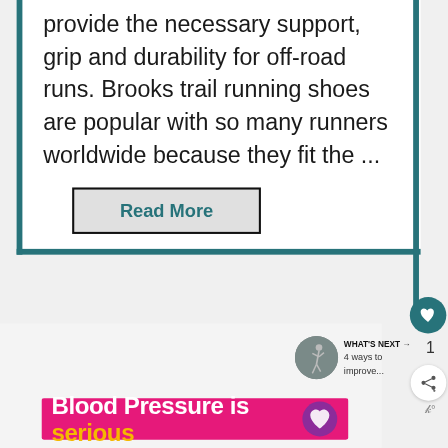provide the necessary support, grip and durability for off-road runs. Brooks trail running shoes are popular with so many runners worldwide because they fit the ...
Read More
1
WHAT'S NEXT → 4 ways to improve...
[Figure (other): Banner advertisement: 'Blood Pressure is serious' with a purple heart icon on a pink/magenta background]